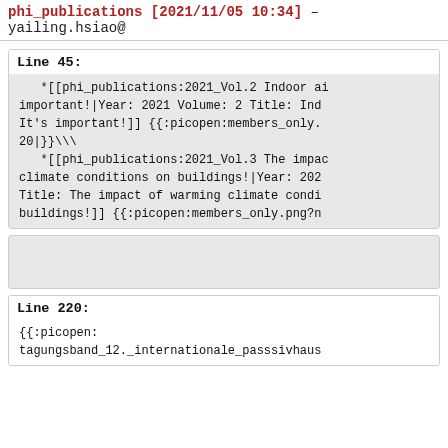phi_publications [2021/11/05 10:34] – yailing.hsiao@
Line 45:
*[[phi_publications:2021_Vol.2 Indoor ai important!|Year: 2021 Volume: 2 Title: Ind It's important!]] {{:picopen:members_only. 20|}}\\
   *[[phi_publications:2021_Vol.3 The impac climate conditions on buildings!|Year: 202 Title: The impact of warming climate condi buildings!]] {{:picopen:members_only.png?n
Line 220:
{{:picopen:
tagungsband_12._internationale_passsivhaus